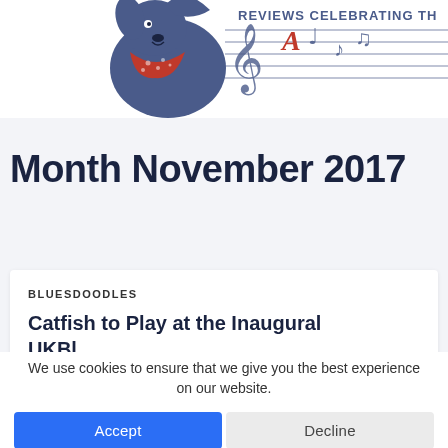[Figure (illustration): Website header banner showing a stylized dog mascot with musical notes and the text 'REVIEWS CELEBRATING TH...' in blue serif lettering]
Month November 2017
BLUESDOODLES
Catfish to Play at the Inaugural UKBl...
Privacy & Cookies: This site uses cookies. By continuing to use this
We use cookies to ensure that we give you the best experience on our website.